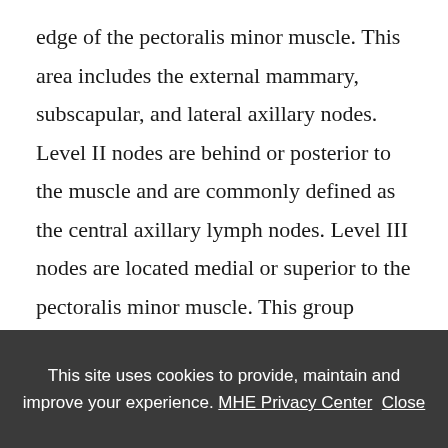edge of the pectoralis minor muscle. This area includes the external mammary, subscapular, and lateral axillary nodes. Level II nodes are behind or posterior to the muscle and are commonly defined as the central axillary lymph nodes. Level III nodes are located medial or superior to the pectoralis minor muscle. This group includes the subclavicular or apical lymph nodes. They reside in the apex of the axillary space behind the clavicle and deep to the axillary vein. In general, level I and II nodes are
This site uses cookies to provide, maintain and improve your experience. MHE Privacy Center  Close